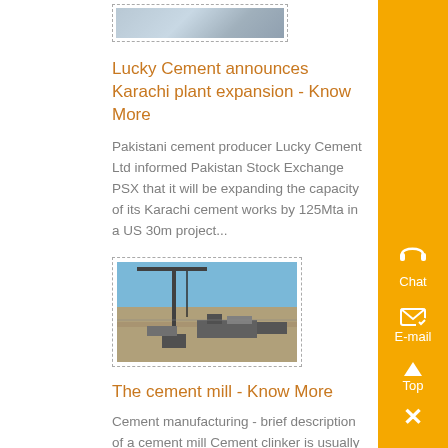[Figure (photo): Partial top image of industrial equipment (partially visible at top of page)]
Lucky Cement announces Karachi plant expansion - Know More
Pakistani cement producer Lucky Cement Ltd informed Pakistan Stock Exchange PSX that it will be expanding the capacity of its Karachi cement works by 125Mta in a US 30m project...
[Figure (photo): Construction site with crane equipment, desert/arid landscape under blue sky]
The cement mill - Know More
Cement manufacturing - brief description of a cement mill Cement clinker is usually ground using a ball mill This is